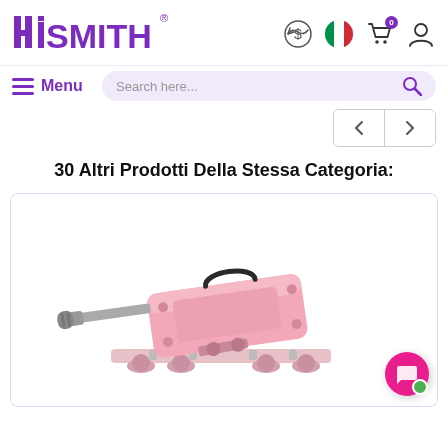[Figure (logo): HISMITH brand logo in purple with registered trademark symbol]
[Figure (screenshot): Website navigation bar with currency icon, Italian flag, shopping cart with badge 0, and user account icon]
[Figure (screenshot): Navigation menu with hamburger menu labeled Menu in purple, and search bar reading Search here...]
[Figure (screenshot): Previous and next arrow navigation buttons]
30 Altri Prodotti Della Stessa Categoria:
[Figure (photo): Pink sex machine / thrusting machine product photo on white background]